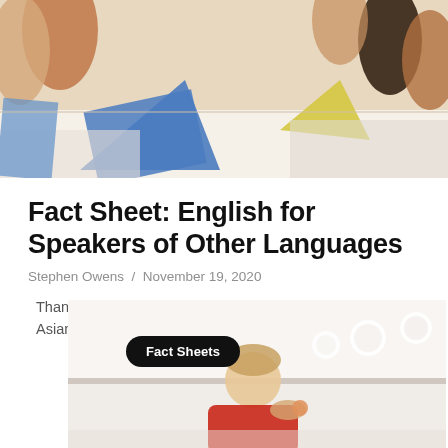[Figure (photo): Overhead view of hands around a table with colorful paper cutouts and craft materials]
Fact Sheet: English for Speakers of Other Languages
Stephen Owens / November 19, 2020
Thank you to Latin American Association & Center for Pan Asian Community Services for translation services …
[Figure (photo): Child in red clothing holding an object, with decorative lights in the background, overlaid with a 'Fact Sheets' badge]